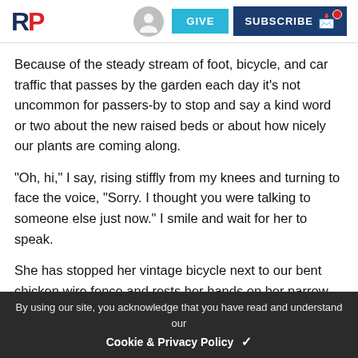RP | GIVE | SUBSCRIBE
Because of the steady stream of foot, bicycle, and car traffic that passes by the garden each day it's not uncommon for passers-by to stop and say a kind word or two about the new raised beds or about how nicely our plants are coming along.
“Oh, hi,” I say, rising stiffly from my knees and turning to face the voice, “Sorry. I thought you were talking to someone else just now.” I smile and wait for her to speak.
She has stopped her vintage bicycle next to our bent chicken wire fence and rests her hands on her narrow hips. Her eyes are a blue so pale that I seem to be looking not at the eyes themselves but at two vacant holes in her head through which I can see the cloudless sky behind her. I reach over and grip the splintery handle of my shovel and lean my weight into it so that I can stretch my legs. I look at her expectantly. She does not smile back.
By using our site, you acknowledge that you have read and understand our Cookie & Privacy Policy ✓